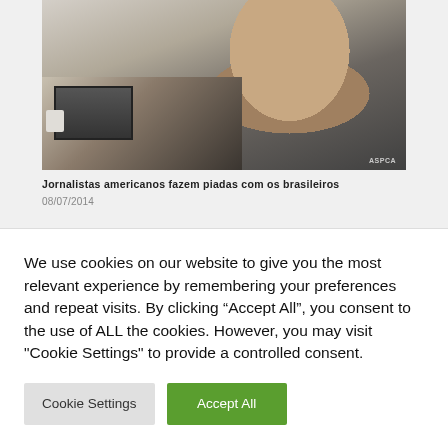[Figure (photo): Man sitting at a desk talking on phone, with a laptop, mug, papers and calculator on the desk. A small ASPCA watermark is visible in the bottom right of the image.]
Jornalistas americanos fazem piadas com os brasileiros
08/07/2014
[Figure (photo): Close-up partial view of a person wearing glasses, dark background.]
We use cookies on our website to give you the most relevant experience by remembering your preferences and repeat visits. By clicking “Accept All”, you consent to the use of ALL the cookies. However, you may visit "Cookie Settings" to provide a controlled consent.